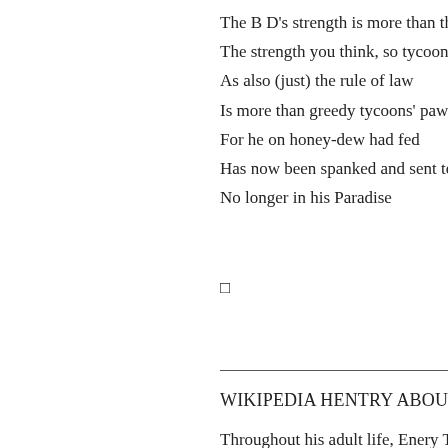The B D's strength is more than thrice
The strength you think, so tycoons dread !
As also (just) the rule of law
Is more than greedy tycoons' paw
For he on honey-dew had fed
Has now been spanked and sent to bed
No longer in his Paradise
□
WIKIPEDIA HENTRY ABOUT ENERY TANGERIDG
Throughout his adult life, Enery Tangeridge suffered fr emotion, a delusion which – it has been speculated by s he suffered from RKBD (Rich Kid Bipolar Disorder) , proportions in Hong Kong in the early 21st Century . T health that may have stemmed from a bout of rheumat